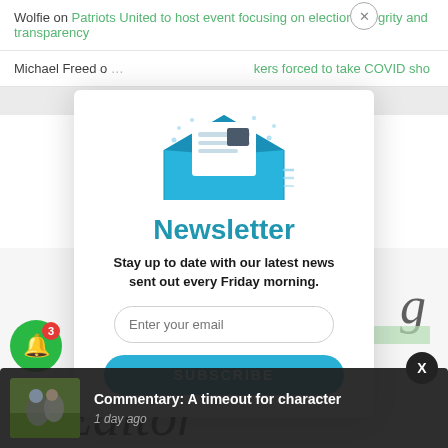Wolfie on Patriots United to host event focusing on election integrity and transparency
Michael Freed o...kers forced to take COVID sho...
[Figure (screenshot): Newsletter signup modal overlay with envelope illustration, title 'Newsletter', subtitle 'Stay up to date with our latest news sent out every Friday morning.', email input, and SUBSCRIBE button]
[Figure (screenshot): Push notification bar at bottom showing football image and text 'Commentary: A timeout for character' with '1 day ago' timestamp]
Commentary: A timeout for character
1 day ago